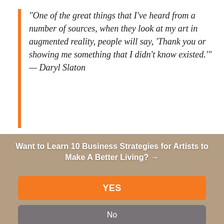“One of the great things that I’ve heard from a number of sources, when they look at my art in augmented reality, people will say, ‘Thank you or showing me something that I didn’t know existed.’” — Daryl Slaton
Want to Learn 10 Business Strategies for Artists to Make A Better Living? →
YES
No